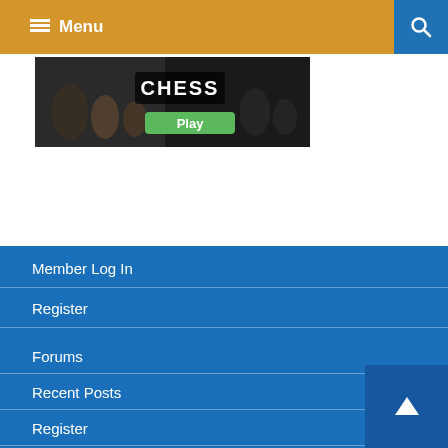Menu
[Figure (screenshot): Chess game banner with chess pieces and Play button]
Member Log In
Register
Forums
Recent Posts
Register
Login